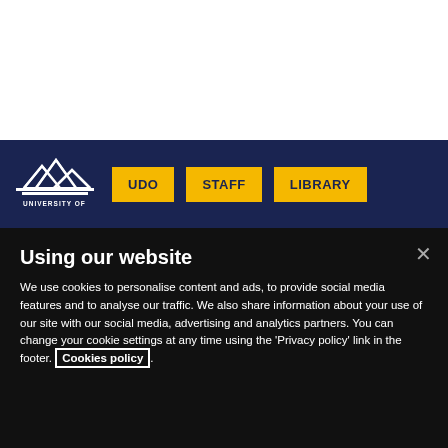[Figure (screenshot): White section at top of university website page]
University of [name] navigation bar with logo, UDO, STAFF, LIBRARY buttons
Using our website
We use cookies to personalise content and ads, to provide social media features and to analyse our traffic. We also share information about your use of our site with our social media, advertising and analytics partners. You can change your cookie settings at any time using the 'Privacy policy' link in the footer. Cookies policy.
Cookies Settings